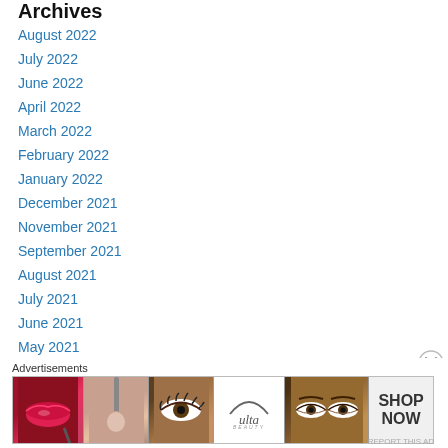Archives
August 2022
July 2022
June 2022
April 2022
March 2022
February 2022
January 2022
December 2021
November 2021
September 2021
August 2021
July 2021
June 2021
May 2021
April 2021
[Figure (illustration): Ulta Beauty advertisement banner with beauty/makeup imagery including lips, makeup brush, eye, Ulta Beauty logo, eyes, and SHOP NOW call to action]